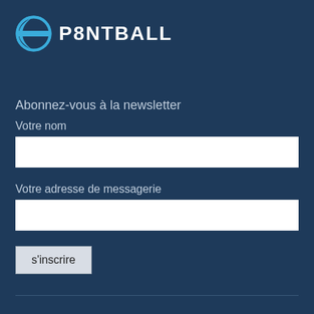[Figure (logo): P8NTBALL logo with circular icon (blue and white sphere with horizontal stripe) and white bold text 'P8NTBALL']
Abonnez-vous à la newsletter
Votre nom
Votre adresse de messagerie
s'inscrire